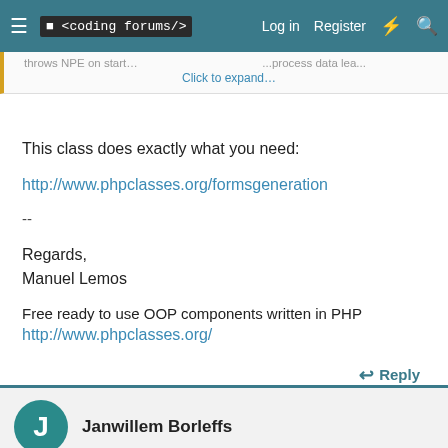≡  <coding forums/>   Log in   Register   ⚡   🔍
throws NPE on start... Click to expand... ...process data lea...
This class does exactly what you need:
http://www.phpclasses.org/formsgeneration
--
Regards,
Manuel Lemos
Free ready to use OOP components written in PHP
http://www.phpclasses.org/
↩ Reply
Janwillem Borleffs